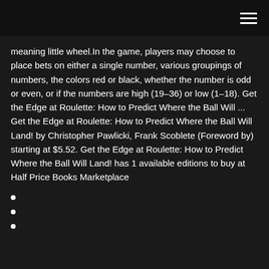meaning little wheel.In the game, players may choose to place bets on either a single number, various groupings of numbers, the colors red or black, whether the number is odd or even, or if the numbers are high (19–36) or low (1–18). Get the Edge at Roulette: How to Predict Where the Ball Will ... Get the Edge at Roulette: How to Predict Where the Ball Will Land! by Christopher Pawlicki, Frank Scoblete (Foreword by) starting at $5.52. Get the Edge at Roulette: How to Predict Where the Ball Will Land! has 1 available editions to buy at Half Price Books Marketplace